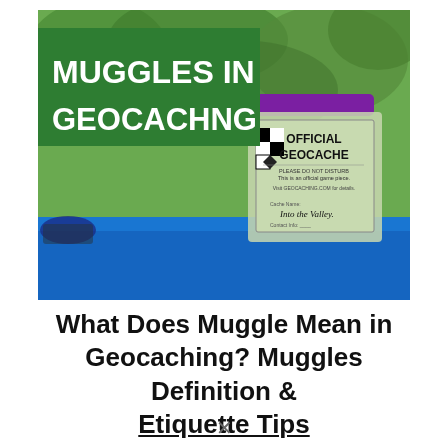[Figure (photo): Photo of an Official Geocache container (clear plastic jar with purple lid) sitting on a blue shelf/bench, with green foliage in background. A green banner overlay in the top-left reads 'MUGGLES IN GEOCACHNG' in bold white text.]
What Does Muggle Mean in Geocaching? Muggles Definition & Etiquette Tips